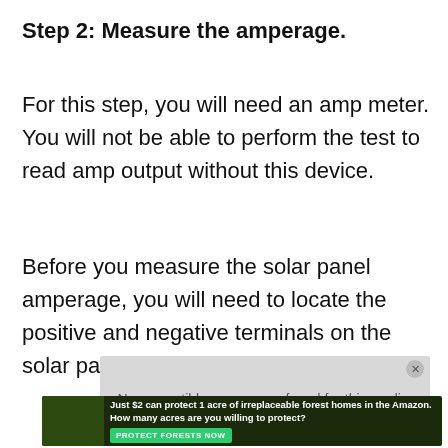Step 2: Measure the amperage.
For this step, you will need an amp meter. You will not be able to perform the test to read amp output without this device.
Before you measure the solar panel amperage, you will need to locate the positive and negative terminals on the solar panel.
[Figure (screenshot): Video player overlay showing 'No compatible source was found for this media' message with a close button and a blue play button.]
[Figure (photo): Advertisement banner: 'Just $2 can protect 1 acre of irreplaceable forest homes in the Amazon. How many acres are you willing to protect?' with a PROTECT FORESTS NOW button.]